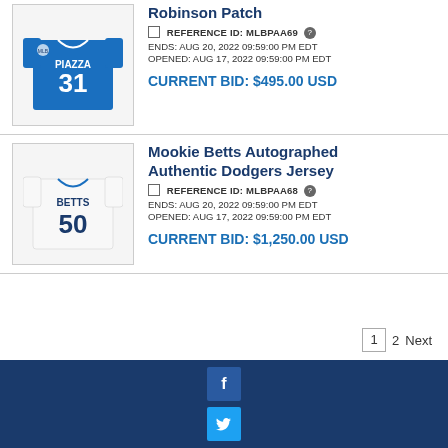[Figure (photo): Piazza jersey #31 in blue, autographed]
Robinson Patch
☐ REFERENCE ID: MLBPAA69 ?
ENDS: AUG 20, 2022 09:59:00 PM EDT
OPENED: AUG 17, 2022 09:59:00 PM EDT
CURRENT BID: $495.00 USD
[Figure (photo): Betts jersey #50 in white, Dodgers]
Mookie Betts Autographed Authentic Dodgers Jersey
☐ REFERENCE ID: MLBPAA68 ?
ENDS: AUG 20, 2022 09:59:00 PM EDT
OPENED: AUG 17, 2022 09:59:00 PM EDT
CURRENT BID: $1,250.00 USD
1  2  Next
[Figure (logo): Facebook social media icon (white f on blue square)]
[Figure (logo): Twitter social media icon (white bird on light blue square)]